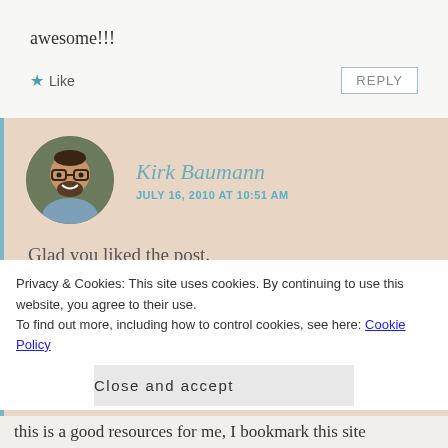awesome!!!
★ Like
REPLY
Kirk Baumann
JULY 16, 2010 AT 10:51 AM
Glad you liked the post.
★ Like
REPLY
Privacy & Cookies: This site uses cookies. By continuing to use this website, you agree to their use. To find out more, including how to control cookies, see here: Cookie Policy
Close and accept
this is a good resources for me, I bookmark this site